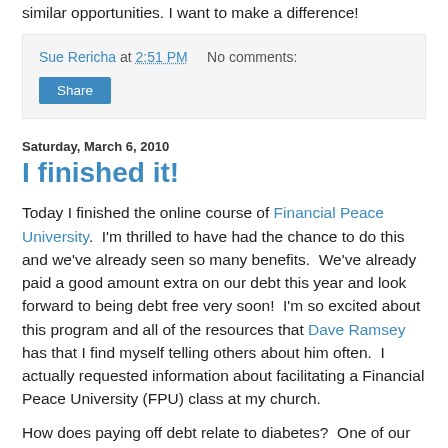similar opportunities. I want to make a difference!
Sue Rericha at 2:51 PM   No comments:
Share
Saturday, March 6, 2010
I finished it!
Today I finished the online course of Financial Peace University.  I'm thrilled to have had the chance to do this and we've already seen so many benefits.  We've already paid a good amount extra on our debt this year and look forward to being debt free very soon!  I'm so excited about this program and all of the resources that Dave Ramsey has that I find myself telling others about him often.  I actually requested information about facilitating a Financial Peace University (FPU) class at my church.
How does paying off debt relate to diabetes?  One of our plans once we're debt free is to donate to charitable